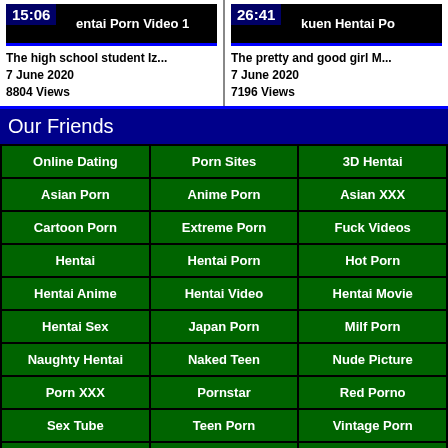[Figure (screenshot): Video thumbnail left: 15:06 timer, title 'entai Porn Video 1']
The high school student Iz...
7 June 2020
8804 Views
[Figure (screenshot): Video thumbnail right: 26:41 timer, title 'kuen Hentai Po']
The pretty and good girl M...
7 June 2020
7196 Views
Our Friends
Online Dating
Porn Sites
3D Hentai
Asian Porn
Anime Porn
Asian XXX
Cartoon Porn
Extreme Porn
Fuck Videos
Hentai
Hentai Porn
Hot Porn
Hentai Anime
Hentai Video
Hentai Movie
Hentai Sex
Japan Porn
Milf Porn
Naughty Hentai
Naked Teen
Nude Picture
Porn XXX
Pornstar
Red Porno
Sex Tube
Teen Porn
Vintage Porn
Video XXX
Watch Anime
Watch Hentai
XXX Video
Copyright (C) 2019 - 2020
HentaiPorn.tube
All Rights Reserved